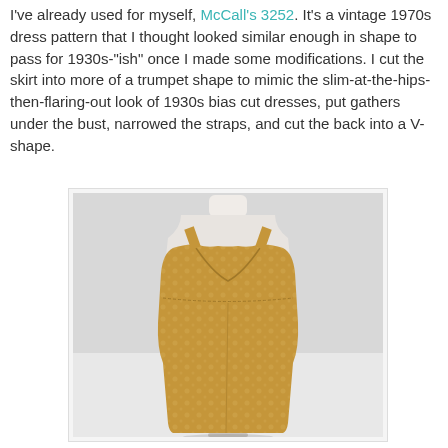I've already used for myself, McCall's 3252. It's a vintage 1970s dress pattern that I thought looked similar enough in shape to pass for 1930s-"ish" once I made some modifications. I cut the skirt into more of a trumpet shape to mimic the slim-at-the-hips-then-flaring-out look of 1930s bias cut dresses, put gathers under the bust, narrowed the straps, and cut the back into a V-shape.
[Figure (photo): A gold/tan lace or textured fabric sleeveless dress displayed on a white dress form/mannequin torso against a light background. The dress has a V-neckline, empire waist with gathers, and a slim trumpet silhouette.]